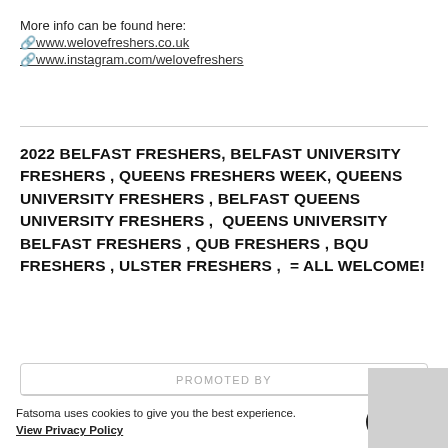More info can be found here:
🔗www.welovefreshers.co.uk
🔗www.instagram.com/welovefreshers
2022 BELFAST FRESHERS, BELFAST UNIVERSITY FRESHERS , QUEENS FRESHERS WEEK, QUEENS UNIVERSITY FRESHERS , BELFAST QUEENS UNIVERSITY FRESHERS ,  QUEENS UNIVERSITY BELFAST FRESHERS , QUB FRESHERS , BQU FRESHERS , ULSTER FRESHERS ,  = ALL WELCOME!
PROMOTED BY
Fatsoma uses cookies to give you the best experience. View Privacy Policy